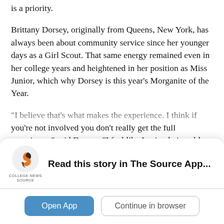is a priority.
Brittany Dorsey, originally from Queens, New York, has always been about community service since her younger days as a Girl Scout. That same energy remained even in her college years and heightened in her position as Miss Junior, which why Dorsey is this year’s Morganite of the Year.
“I believe that’s what makes the experience. I think if you’re not involved you don’t really get the full experience,” said Dorsey. “I feel like I enjoy being able to implement things other people can enjoy whether it be people in the community or people on
[Figure (logo): College News Source logo - stylized S in orange/dark with text COLLEGE NEWS SOURCE below]
Read this story in The Source App...
Open App
Continue in browser